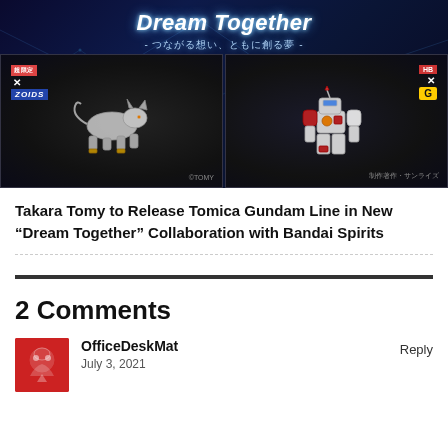[Figure (illustration): Banner image for 'Dream Together' collaboration between Takara Tomy and Bandai Spirits, showing two toy robot figures — a Zoids lion-type mecha on the left panel and a Gundam-type mecha on the right panel, on a dark blue space-themed background with Japanese subtitle text]
Takara Tomy to Release Tomica Gundam Line in New “Dream Together” Collaboration with Bandai Spirits
2 Comments
OfficeDeskMat
July 3, 2021